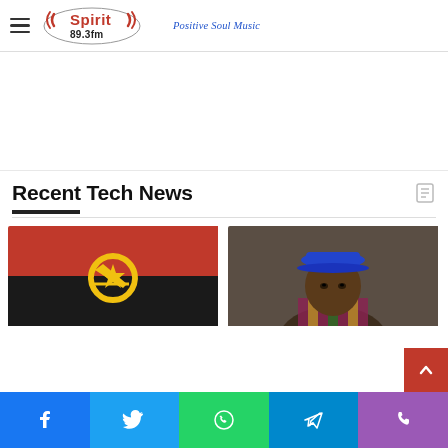Spirit 89.3fm — Positive Soul Music
[Figure (other): Advertisement / empty ad area]
Recent Tech News
[Figure (photo): Angola national flag — red and black horizontal bands with yellow emblem (star, gear, machete)]
[Figure (photo): Portrait of a man wearing a blue hat and colorful patterned shirt, dark background]
Social share buttons: Facebook, Twitter, WhatsApp, Telegram, Phone